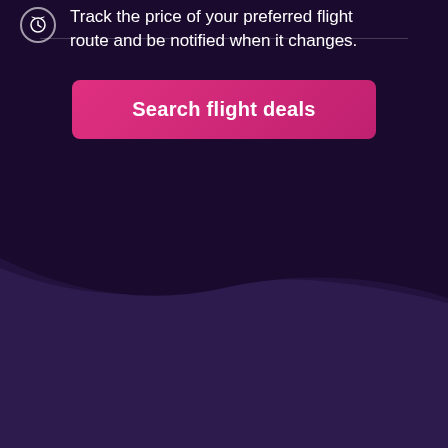Track the price of your preferred flight route and be notified when it changes.
Search flight deals
momondo always attempts to get accurate pricing, however, prices are not guaranteed. Here's why:
momondo is not the seller
We aggregate tonnes of data for you
Why aren't prices 100% accurate?